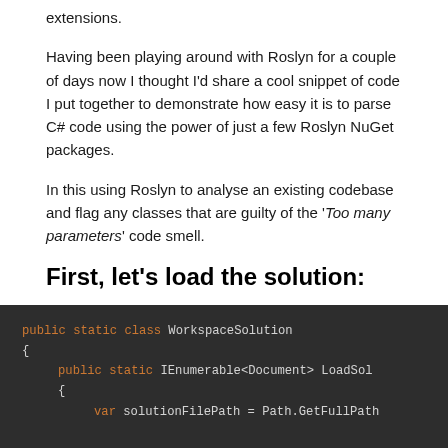extensions.
Having been playing around with Roslyn for a couple of days now I thought I'd share a cool snippet of code I put together to demonstrate how easy it is to parse C# code using the power of just a few Roslyn NuGet packages.
In this using Roslyn to analyse an existing codebase and flag any classes that are guilty of the 'Too many parameters' code smell.
First, let's load the solution:
First of all we're going to need to load our solution…
[Figure (screenshot): Dark-themed code editor showing C# code: public static class WorkspaceSolution { public static IEnumerable<Document> LoadSol... { var solutionFilePath = Path.GetFullPath...]